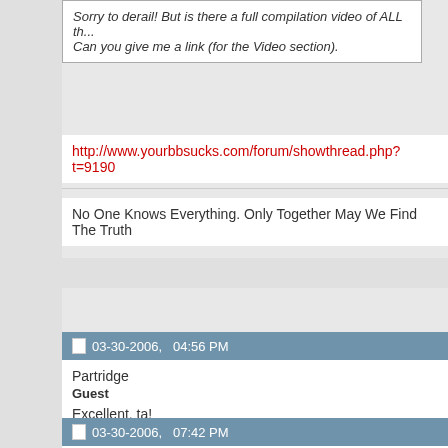Sorry to derail! But is there a full compilation video of ALL th... Can you give me a link (for the Video section).
http://www.yourbbsucks.com/forum/showthread.php?t=9190
No One Knows Everything. Only Together May We Find The Truth
03-30-2006, 04:56 PM
Partridge
Guest
Excellent, ta!
03-30-2006, 07:42 PM
shadow7
Guest